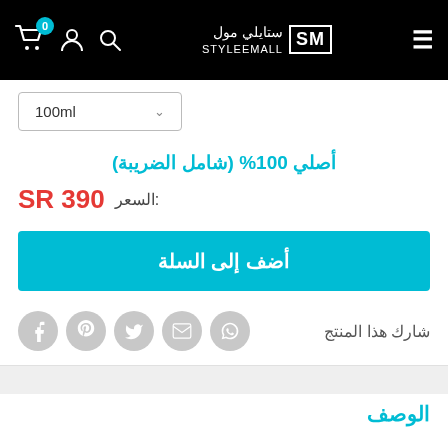ستايلي مول STYLEEMALL SM - header navigation with cart (0), user, search, logo, hamburger
100ml (dropdown)
أصلي 100% (شامل الضريبة)
السعر: SR 390
أضف إلى السلة
شارك هذا المنتج
الوصف